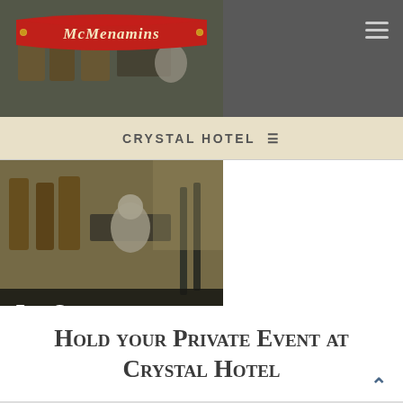[Figure (photo): McMenamins logo banner on red ribbon background, top navigation area with dark gray background showing interior of cafe/restaurant]
CRYSTAL HOTEL ≡
[Figure (photo): Interior photo of Zeus Café at Crystal Hotel showing chairs, tables, and customers]
Zeus Café
AT CRYSTAL HOTEL
PORTLAND, OR
Hold your Private Event at Crystal Hotel